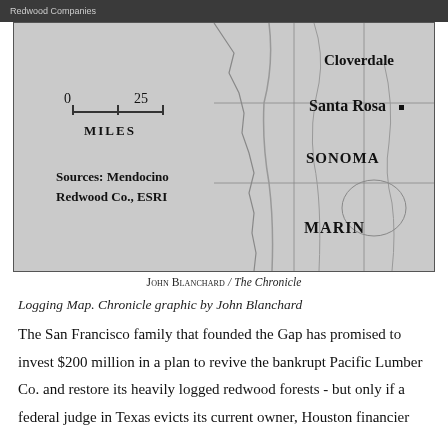Redwood Companies
[Figure (map): A map showing Northern California counties including Sonoma, Marin, and cities Cloverdale, Santa Rosa. A scale bar shows 0 to 25 miles. Sources: Mendocino Redwood Co., ESRI]
JOHN BLANCHARD / The Chronicle
Logging Map. Chronicle graphic by John Blanchard
The San Francisco family that founded the Gap has promised to invest $200 million in a plan to revive the bankrupt Pacific Lumber Co. and restore its heavily logged redwood forests - but only if a federal judge in Texas evicts its current owner, Houston financier